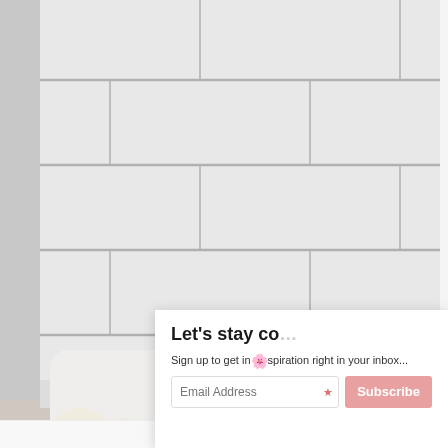[Figure (photo): Kitchen counter scene with white subway tile backsplash. Containers labeled 'Flour' with chalkboard tags, plastic containers with lids, a 'nice!' branded small milk bottle, eggs, and a red spice jar labeled 'Tone's'.]
Let's stay co…
Sign up to get inspiration right in your inbox...
Email Address
Subscribe
X CLOSE